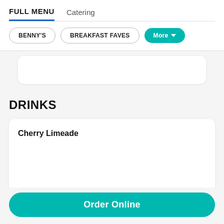FULL MENU  Catering
BENNY'S  BREAKFAST FAVES  More
DRINKS
Cherry Limeade
Order Online